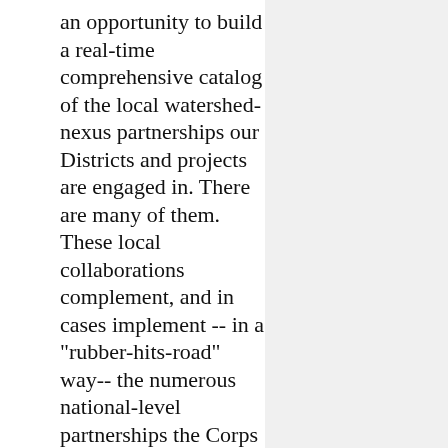an opportunity to build a real-time comprehensive catalog of the local watershed-nexus partnerships our Districts and projects are engaged in. There are many of them. These local collaborations complement, and in cases implement -- in a "rubber-hits-road" way-- the numerous national-level partnerships the Corps enjoys.

As all of these